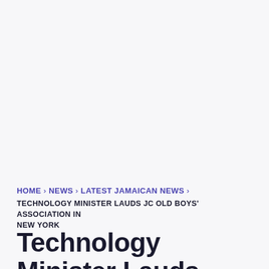HOME › NEWS › LATEST JAMAICAN NEWS › TECHNOLOGY MINISTER LAUDS JC OLD BOYS' ASSOCIATION IN NEW YORK
Technology Minister Lauds